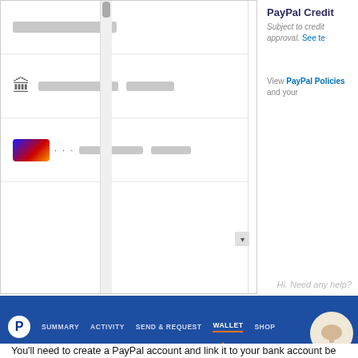[Figure (screenshot): PayPal payment page screenshot showing payment method options including bank account and credit card, with PayPal Credit section on right. Shows scrollbar and dropdown arrow.]
Cancel and return to GoldSilver.com
Policies  Te
If you do not have a PayPal account...
You'll need to create a PayPal account and link it to your bank account be
Setting one up is easy. Visit PayPal, create a login, and then add your ban to link it. It will look like this on PayPal's website:
[Figure (screenshot): PayPal navigation bar screenshot showing PayPal logo and menu items: SUMMARY, ACTIVITY, SEND & REQUEST, WALLET (active with underline), SHOP. Orange arrow pointing up at WALLET. Chat bubble visible on right.]